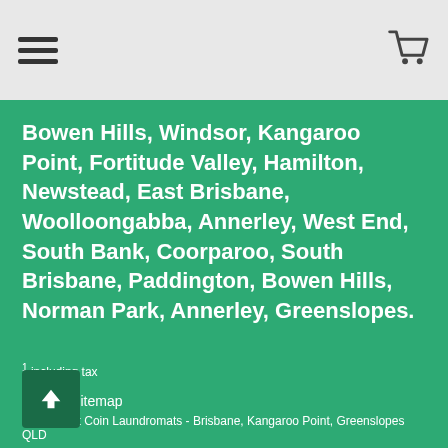[hamburger menu icon] [cart icon]
Bowen Hills, Windsor, Kangaroo Point, Fortitude Valley, Hamilton, Newstead, East Brisbane, Woolloongabba, Annerley, West End, South Bank, Coorparoo, South Brisbane, Paddington, Bowen Hills, Norman Park, Annerley, Greenslopes.
1 including tax
About | Sitemap
WaterSpirit Coin Laundromats - Brisbane, Kangaroo Point, Greenslopes QLD